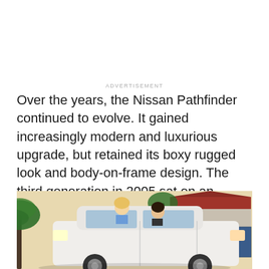ADVERTISEMENT
Over the years, the Nissan Pathfinder continued to evolve. It gained increasingly modern and luxurious upgrade, but retained its boxy rugged look and body-on-frame design. The third generation in 2005 sat on an Armada chassis.
[Figure (photo): Photo of two people leaning out of a white Nissan Pathfinder SUV parked in a driveway, with palm trees and a house with a red roof visible in the background.]